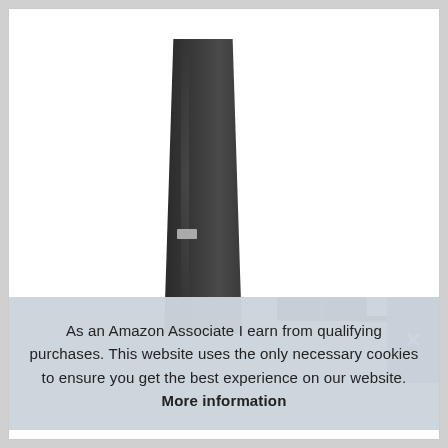[Figure (photo): Product photo showing a tall narrow black patio heater cover (tapered shape, wider at bottom) on the left, and a smaller black rectangular accessory with a cord on the right, against a white background.]
As an Amazon Associate I earn from qualifying purchases. This website uses the only necessary cookies to ensure you get the best experience on our website. More information